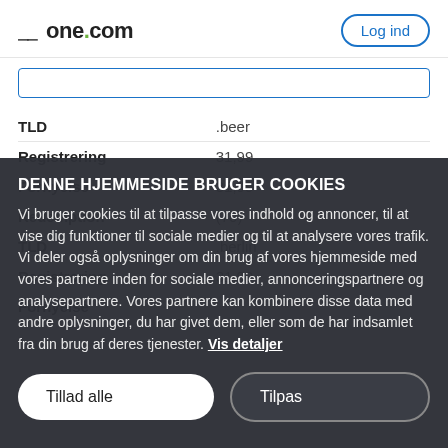one.com — Log ind
| TLD | .beer |
| --- | --- |
| Registrering | 31,99 |
| Fornyelse | 31,99 |
| Redemption | (70) |
| TLD | .berlin |
| Registrering | 31,99 |
| Fornyelse | (70) |
DENNE HJEMMESIDE BRUGER COOKIES
Vi bruger cookies til at tilpasse vores indhold og annoncer, til at vise dig funktioner til sociale medier og til at analysere vores trafik. Vi deler også oplysninger om din brug af vores hjemmeside med vores partnere inden for sociale medier, annonceringspartnere og analysepartnere. Vores partnere kan kombinere disse data med andre oplysninger, du har givet dem, eller som de har indsamlet fra din brug af deres tjenester. Vis detaljer
Tillad alle
Tilpas